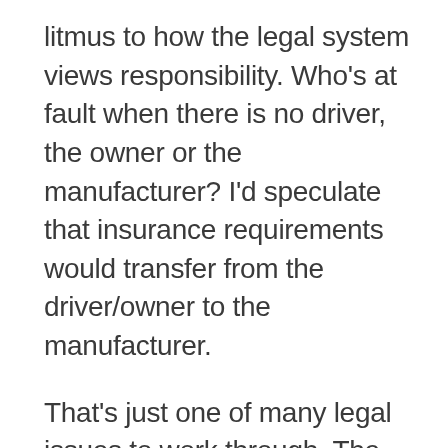litmus to how the legal system views responsibility. Who's at fault when there is no driver, the owner or the manufacturer? I'd speculate that insurance requirements would transfer from the driver/owner to the manufacturer.
That's just one of many legal issues to work through. The lobbying effort against this will be huge. It will be interesting to see if the push back from the insurance industry can slow the advancement of this technology. As we've seen before, the speed of new technology acceptance is very dependent on legal approval and how quickly other